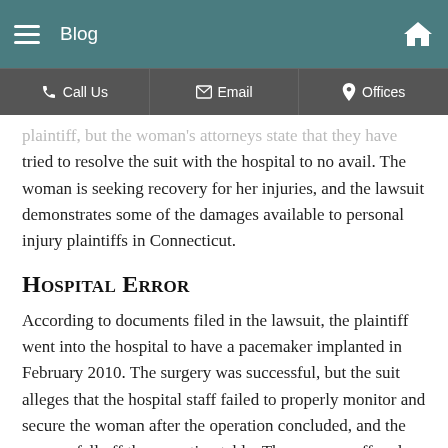Blog
plaintiff, but the woman's attorneys state that they have tried to resolve the suit with the hospital to no avail. The woman is seeking recovery for her injuries, and the lawsuit demonstrates some of the damages available to personal injury plaintiffs in Connecticut.
Hospital Error
According to documents filed in the lawsuit, the plaintiff went into the hospital to have a pacemaker implanted in February 2010. The surgery was successful, but the suit alleges that the hospital staff failed to properly monitor and secure the woman after the operation concluded, and the woman fell off the operating table. The woman suffered fractures to her hip, collarbone and toe, as well as a